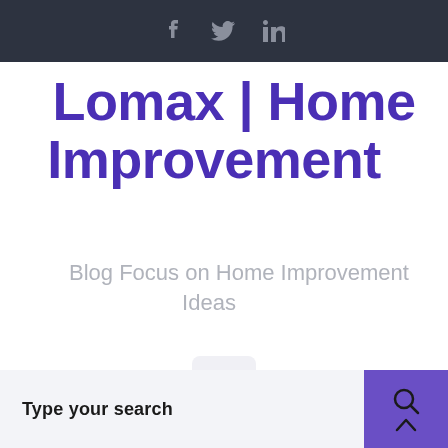f  y  in
Lomax | Home Improvement
Blog Focus on Home Improvement Ideas
[Figure (other): Hamburger menu icon button with three horizontal lines on a light grey rounded rectangle background]
Type your search